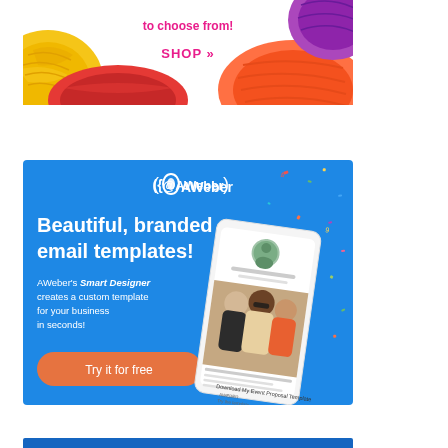[Figure (illustration): Advertisement banner showing colorful yarn balls (yellow, red, orange, pink/purple) on white background with pink text 'to choose from!' and 'SHOP »']
[Figure (illustration): AWeber advertisement on blue background. Logo at top center. Large white bold text 'Beautiful, branded email templates!' with italic 'Smart Designer' in description. Orange rounded button 'Try it for free'. Phone mockup showing people and email template on the right side. Colorful confetti scattered around.]
[Figure (illustration): Bottom partial banner strip in dark blue, partially visible at bottom of page.]